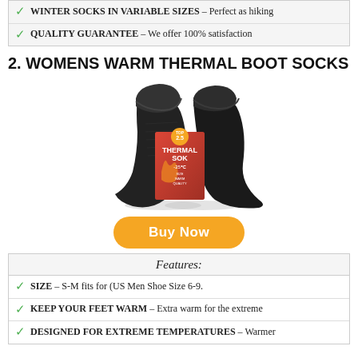✓ WINTER SOCKS IN VARIABLE SIZES – Perfect as hiking
✓ QUALITY GUARANTEE – We offer 100% satisfaction
2. WOMENS WARM THERMAL BOOT SOCKS
[Figure (photo): Product photo of black thermal boot socks with a Thermal Sok packaging card]
Buy Now
| Features: |
| --- |
| ✓ SIZE – S-M fits for (US Men Shoe Size 6-9. |
| ✓ KEEP YOUR FEET WARM – Extra warm for the extreme |
| ✓ DESIGNED FOR EXTREME TEMPERATURES – Warmer |